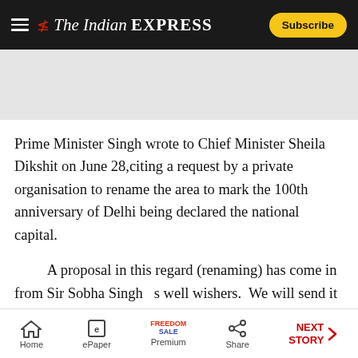The Indian EXPRESS
[Figure (other): Advertisement banner area (gray placeholder)]
Prime Minister Singh wrote to Chief Minister Sheila Dikshit on June 28,citing a request by a private organisation to rename the area to mark the 100th anniversary of Delhi being declared the national capital.
A proposal in this regard (renaming) has come in from Sir Sobha Singh’s well wishers. We will send it to the Home Ministry tomorrow,  said
Home | ePaper | Premium | Share | NEXT STORY